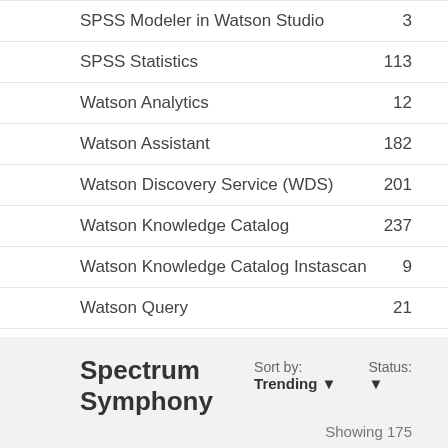SPSS Modeler in Watson Studio  3
SPSS Statistics  113
Watson Analytics  12
Watson Assistant  182
Watson Discovery Service (WDS)  201
Watson Knowledge Catalog  237
Watson Knowledge Catalog Instascan  9
Watson Query  21
Spectrum Symphony
Sort by: Trending ▼  Status: ▼  Showing 175
1  RHEL9 support